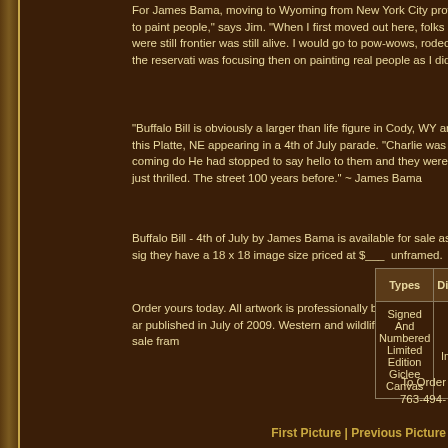For James Bama, moving to Wyoming from New York City proved to paint people," says Jim. "When I first moved out here, folks were still frontier was still alive. I would go to pow-wows, rodeos, the reservati was focusing then on painting real people as I did."
"Buffalo Bill is obviously a larger than life figure in Cody, WY and this Platte, NE appearing in a 4th of July parade. "Charlie was coming do He had stopped to say hello to them and they were just thrilled. The street 100 years before." ~ James Bama
Buffalo Bill - 4th of July by James Bama is available for sale as a sig they have a 18 x 18 image size priced at $___  unframed.
Order yours today. All artwork is professionally boxed and insured ar published in July of 2009. Western and wildlife art prints for sale fram
| Types | Dimensions | Edition S |
| --- | --- | --- |
| Signed And Numbered Limited Edition Giclee Canvas | 18 x 18 Image Size | 75 |
To Order
763-494-
First Picture | Previous Picture